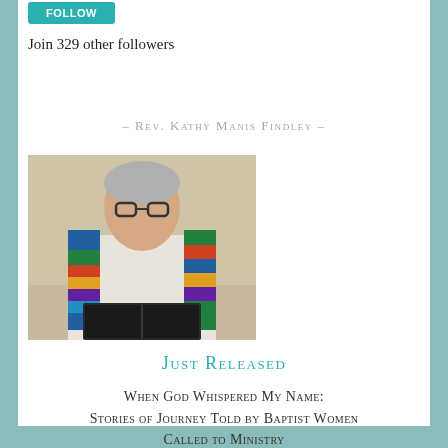FOLLOW
Join 329 other followers
– Rev. Kathy Manis Findley –
[Figure (photo): Portrait photo of Rev. Kathy Manis Findley wearing glasses and a colorful stole, holding an open book]
JUST RELEASED
When God Whispered My Name: Stories of Journey Told by Baptist Women Called to Ministry